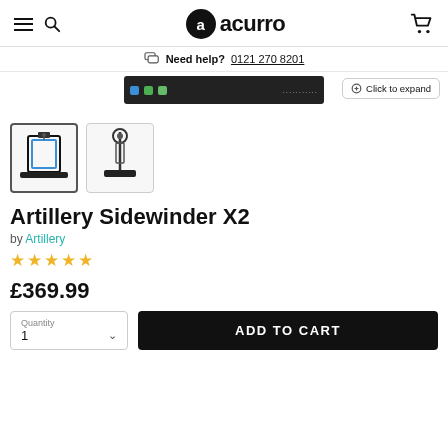acurro
Need help? 0121 270 8201
[Figure (photo): Partial view of a 3D printer control strip at top of product image area]
Click to expand
[Figure (photo): Thumbnail 1 (active/selected): Artillery Sidewinder X2 3D printer, front view, blue and black frame]
[Figure (photo): Thumbnail 2: Artillery Sidewinder X2 3D printer, side/profile view]
Artillery Sidewinder X2
by Artillery
★☆☆☆☆
£369.99
Quantity 1
ADD TO CART